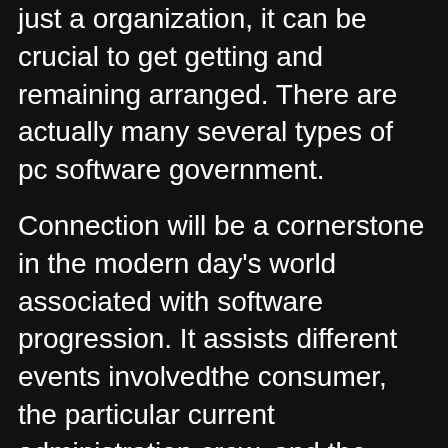just a organization, it can be crucial to get getting and remaining arranged. There are actually many several types of pc software government.
Connection will be a cornerstone in the modern day's world associated with software progression. It assists different events involvedthe consumer, the particular current administration crew, and the progression teamcome towards right conclusions for the challenge. Timely prospect communication will also guide you to be able to take into account the main issues encountered by your personal potential customers more quickly.
Normally, you might need to postpone the